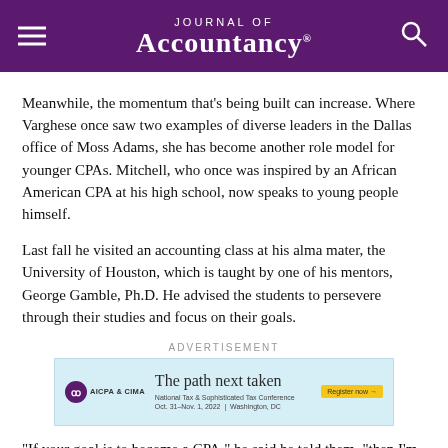Journal of Accountancy
Meanwhile, the momentum that's being built can increase. Where Varghese once saw two examples of diverse leaders in the Dallas office of Moss Adams, she has become another role model for younger CPAs. Mitchell, who once was inspired by an African American CPA at his high school, now speaks to young people himself.
Last fall he visited an accounting class at his alma mater, the University of Houston, which is taught by one of his mentors, George Gamble, Ph.D. He advised the students to persevere through their studies and focus on their goals.
[Figure (other): Advertisement for AICPA & CIMA: 'The path next taken' - National Tax & Sophisticated Tax Conference, Oct. 31–Nov. 1, 2022, Washington, DC. Register now button.]
"If your goal is to become a CPA," he said he told them, "then I'm a living witness that it can be done."